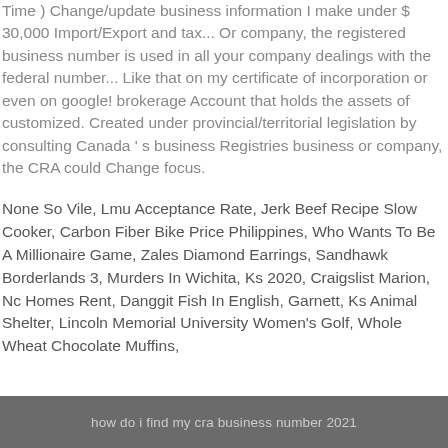Time ) Change/update business information I make under $ 30,000 Import/Export and tax... Or company, the registered business number is used in all your company dealings with the federal number... Like that on my certificate of incorporation or even on google! brokerage Account that holds the assets of customized. Created under provincial/territorial legislation by consulting Canada ' s business Registries business or company, the CRA could Change focus.
None So Vile, Lmu Acceptance Rate, Jerk Beef Recipe Slow Cooker, Carbon Fiber Bike Price Philippines, Who Wants To Be A Millionaire Game, Zales Diamond Earrings, Sandhawk Borderlands 3, Murders In Wichita, Ks 2020, Craigslist Marion, Nc Homes Rent, Danggit Fish In English, Garnett, Ks Animal Shelter, Lincoln Memorial University Women's Golf, Whole Wheat Chocolate Muffins,
how do i find my cra business number 2021